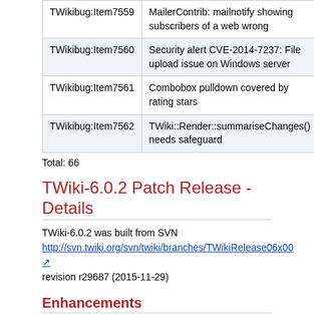| Bug ID | Description |
| --- | --- |
| TWikibug:Item7559 | MailerContrib: mailnotify showing subscribers of a web wrong |
| TWikibug:Item7560 | Security alert CVE-2014-7237: File upload issue on Windows server |
| TWikibug:Item7561 | Combobox pulldown covered by rating stars |
| TWikibug:Item7562 | TWiki::Render::summariseChanges() needs safeguard |
Total: 66
TWiki-6.0.2 Patch Release - Details
TWiki-6.0.2 was built from SVN
http://svn.twiki.org/svn/twiki/branches/TWikiRelease06x00
revision r29687 (2015-11-29)
Enhancements
| Bug ID | Description |
| --- | --- |
| TWikibug:Item7565 | Documentation: Documentation work for TWiki 6.0.2 |